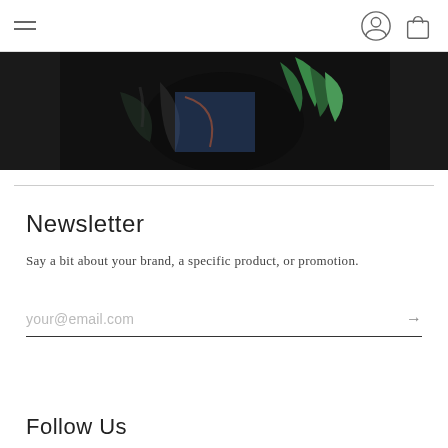Navigation header with hamburger menu, user icon, and shopping bag icon
[Figure (photo): Partial view of a dark fashion/lifestyle photo showing a person with tropical floral elements, dark background]
Newsletter
Say a bit about your brand, a specific product, or promotion.
your@email.com
Follow Us